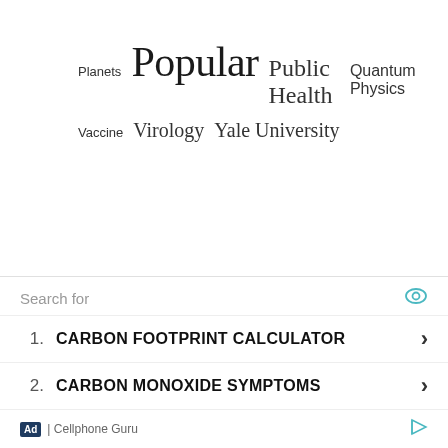Planets Popular Public Health Quantum Physics Vaccine Virology Yale University
Search for
1. CARBON FOOTPRINT CALCULATOR
2. CARBON MONOXIDE SYMPTOMS
Ad | Cellphone Guru